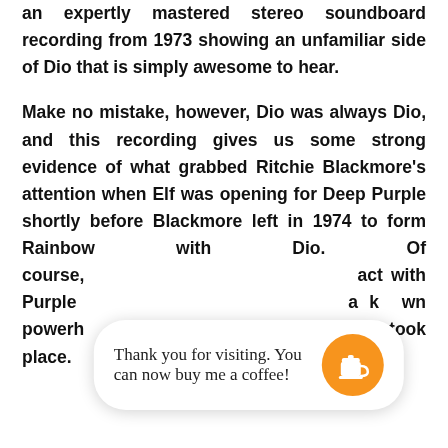we are introduced to those days through an expertly mastered stereo soundboard recording from 1973 showing an unfamiliar side of Dio that is simply awesome to hear.

Make no mistake, however, Dio was always Dio, and this recording gives us some strong evidence of what grabbed Ritchie Blackmore's attention when Elf was opening for Deep Purple shortly before Blackmore left in 1974 to form Rainbow with Dio. Of course, [obscured] act with Purple [obscured] a known powerh[obscured] as this concert took place.
Thank you for visiting. You can now buy me a coffee!